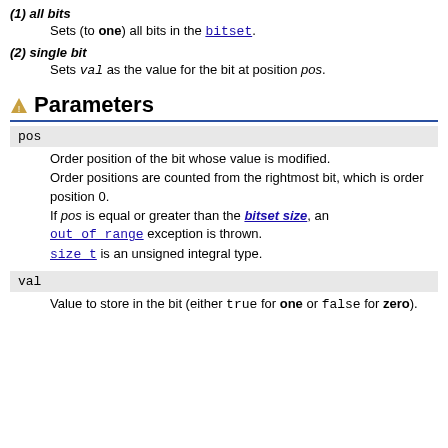(1) all bits
Sets (to one) all bits in the bitset.
(2) single bit
Sets val as the value for the bit at position pos.
Parameters
pos
Order position of the bit whose value is modified. Order positions are counted from the rightmost bit, which is order position 0. If pos is equal or greater than the bitset size, an out_of_range exception is thrown. size_t is an unsigned integral type.
val
Value to store in the bit (either true for one or false for zero).